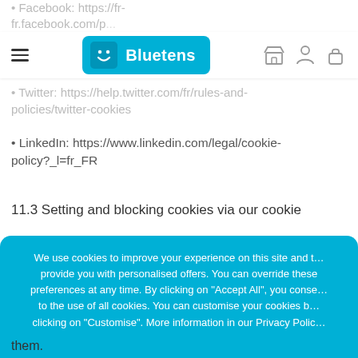• Facebook: https://fr-fr.facebook.com/p...
Bluetens navigation bar
• Twitter: https://help.twitter.com/fr/rules-and-policies/twitter-cookies
• LinkedIn: https://www.linkedin.com/legal/cookie-policy?_l=fr_FR
11.3 Setting and blocking cookies via our cookie
We use cookies to improve your experience on this site and to provide you with personalised offers. You can override these preferences at any time. By clicking on "Accept All", you consent to the use of all cookies. You can customise your cookies by clicking on "Customise". More information in our Privacy Policy.
them.